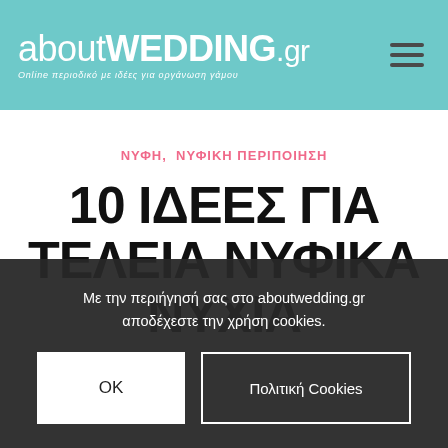aboutWEDDING.gr – Online περιοδικό με ιδέες για οργάνωση γάμου
ΝΥΦΗ, ΝΥΦΙΚΗ ΠΕΡΙΠΟΙΗΣΗ
10 ΙΔΕΕΣ ΓΙΑ ΤΕΛΕΙΑ ΝΥΦΙΚΑ ΝΥΧΙΑ
Με την περιήγησή σας στο aboutwedding.gr αποδέχεστε την χρήση cookies.
OK
Πολιτική Cookies